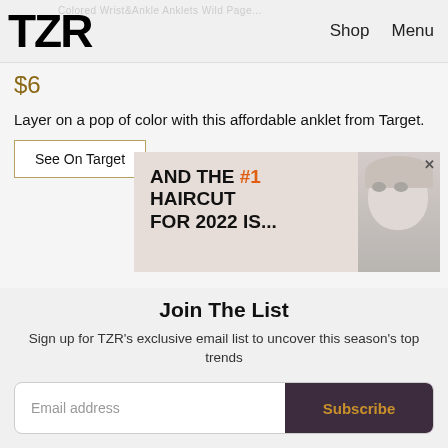TZR  Shop  Menu
$6
Layer on a pop of color with this affordable anklet from Target.
See On Target
[Figure (screenshot): Advertisement overlay showing text 'AND THE #1 HAIRCUT FOR 2022 IS...' with a woman's face photo, and a close (x) button.]
Join The List
Sign up for TZR's exclusive email list to uncover this season's top trends
Email address  Subscribe